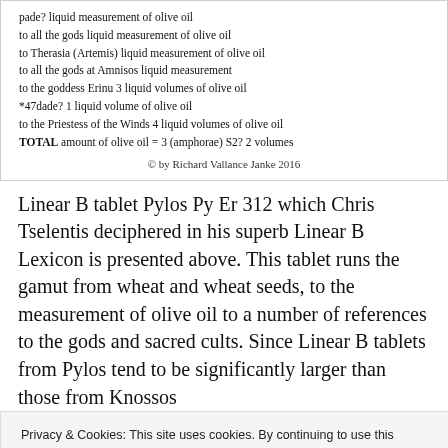pade? liquid measurement of olive oil
to all the gods liquid measurement of olive oil
to Therasia (Artemis) liquid measurement of olive oil
to all the gods at Amnisos liquid measurement
to the goddess Erinu 3 liquid volumes of olive oil
*47dade? 1 liquid volume of olive oil
to the Priestess of the Winds 4 liquid volumes of olive oil
TOTAL amount of olive oil = 3 (amphorae) S2? 2 volumes
© by Richard Vallance Janke 2016
Linear B tablet Pylos Py Er 312 which Chris Tselentis deciphered in his superb Linear B Lexicon is presented above. This tablet runs the gamut from wheat and wheat seeds, to the measurement of olive oil to a number of references to the gods and sacred cults. Since Linear B tablets from Pylos tend to be significantly larger than those from Knossos
Privacy & Cookies: This site uses cookies. By continuing to use this website, you agree to their use. To find out more, including how to control cookies, see here: Cookie Policy